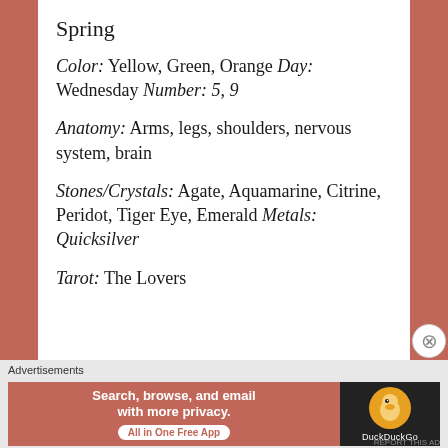Spring
Color: Yellow, Green, Orange Day: Wednesday Number: 5, 9
Anatomy: Arms, legs, shoulders, nervous system, brain
Stones/Crystals: Agate, Aquamarine, Citrine, Peridot, Tiger Eye, Emerald Metals: Quicksilver
Tarot: The Lovers
Advertisements